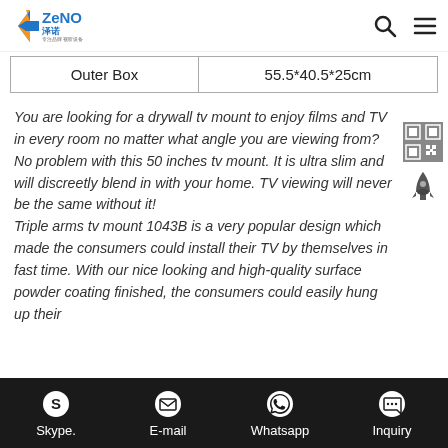ZENO 泽诺 - 专注品牌 视听设备
| Outer Box | 55.5*40.5*25cm |
You are looking for a drywall tv mount to enjoy films and TV in every room no matter what angle you are viewing from? No problem with this 50 inches tv mount. It is ultra slim and will discreetly blend in with your home. TV viewing will never be the same without it! Triple arms tv mount 1043B is a very popular design which made the consumers could install their TV by themselves in fast time. With our nice looking and high-quality surface powder coating finished, the consumers could easily hung up their
Skype.  E-mail  Whatsapp  Inquiry